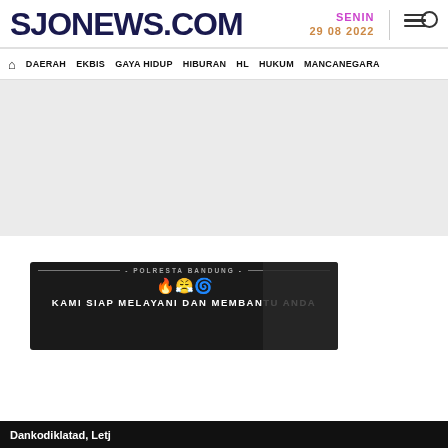SJONEWS.COM — SENIN 29 08 2022
DAERAH | EKBIS | GAYA HIDUP | HIBURAN | HL | HUKUM | MANCANEGARA
[Figure (other): Grey advertisement banner area (blank/placeholder)]
[Figure (photo): Polresta Bandung promotional banner: dark background, decorative border, text 'POLRESTA BANDUNG', emoji icons, text 'KAMI SIAP MELAYANI DAN MEMBANTU ANDA']
Dankodiklatad, Letj